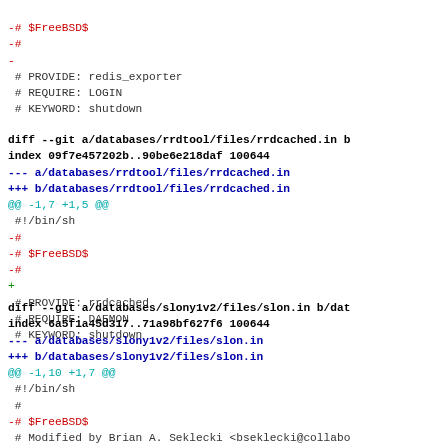# $FreeBSD$
-#
-
 # PROVIDE: redis_exporter
 # REQUIRE: LOGIN
 # KEYWORD: shutdown
diff --git a/databases/rrdtool/files/rrdcached.in b/...
index 09f7e457202b..90be6e218daf 100644
--- a/databases/rrdtool/files/rrdcached.in
+++ b/databases/rrdtool/files/rrdcached.in
@@ -1,7 +1,5 @@
 #!/bin/sh
 -#
 -# $FreeBSD$
 -#
 +
 # PROVIDE: rrdcached
 # REQUIRE: DAEMON
 # KEYWORD: shutdown
diff --git a/databases/slony1v2/files/slon.in b/dat...
index 6a5f1a45d317..71a98bf627f6 100644
--- a/databases/slony1v2/files/slon.in
+++ b/databases/slony1v2/files/slon.in
@@ -1,10 +1,7 @@
 #!/bin/sh
 #
 -# $FreeBSD$
 # Modified by Brian A. Seklecki <bseklecki@collabo...
 #                                 <lavalamp@spiritu...